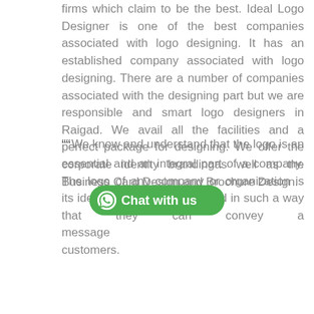firms which claim to be the best. Ideal Logo Designer is one of the best companies associated with logo designing. It has an established company associated with logo designing. There are a number of companies associated with the designing part but we are responsible and smart logo designers in Raigad. We avail all the facilities and a perfect package for designing. We offer the corporate identity brandingas well as the Business Card Design and Brochure Design.
““We know and understand that the logo is an essential and an integral part of a company. The logo of any company or organization is its identity. Logos are designed in such a way that they can convey a message and customers.
[Figure (other): Green rounded button with WhatsApp icon and text 'Chat with us']